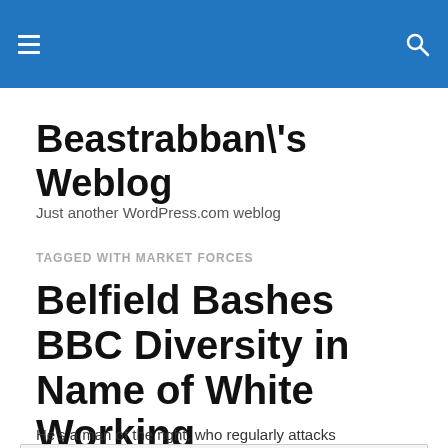Beastrabban\'s Weblog — site navigation header with hamburger menu and search icon
Beastrabban\'s Weblog
Just another WordPress.com weblog
TAGGED WITH MARKET FORCES
Belfield Bashes BBC Diversity in Name of White Working
Privacy & Cookies: This site uses cookies. By continuing to use this website, you agree to their use. To find out more, including how to control cookies, see here: Cookie Policy
Close and accept
He's a man of the right, who regularly attacks immigration,